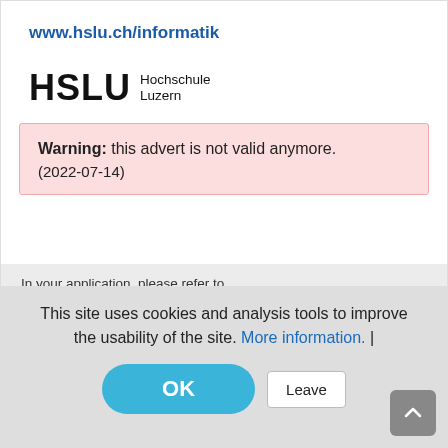www.hslu.ch/informatik
[Figure (logo): HSLU Hochschule Luzern logo with bold HSLU text and Hochschule Luzern in smaller text to the right]
Warning: this advert is not valid anymore. (2022-07-14)
In your application, please refer to myScience.fr and reference JobID 32501.
This site uses cookies and analysis tools to improve the usability of the site. More information. |
OK
Leave